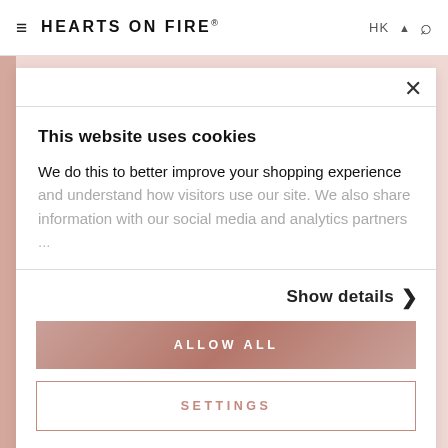≡ HEARTS ON FIRE® HK ∧ 🔍
[Figure (screenshot): Cookie consent modal dialog on Hearts On Fire website. Modal contains title 'This website uses cookies', body text explaining cookie usage, a 'Show details >' link, an 'ALLOW ALL' button in rose gold color, and a 'SETTINGS' button with outline style.]
Hearts On Fire's international retail expansion strategy, which begins in premiere mall locations